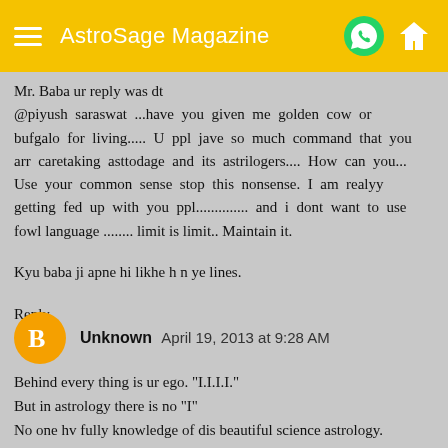AstroSage Magazine
Mr. Baba ur reply was dt
@piyush saraswat ...have you given me golden cow or bufgalo for living..... U ppl jave so much command that you arr caretaking asttodage and its astrilogers.... How can you... Use your common sense stop this nonsense. I am realyy getting fed up with you ppl.............. and i dont want to use fowl language ........ limit is limit.. Maintain it.

Kyu baba ji apne hi likhe h n ye lines.
Reply
Unknown  April 19, 2013 at 9:28 AM
Behind every thing is ur ego. "I.I.I.I."
But in astrology there is no "I"
No one hv fully knowledge of dis beautiful science astrology.
Mr Baba ji
Pranam